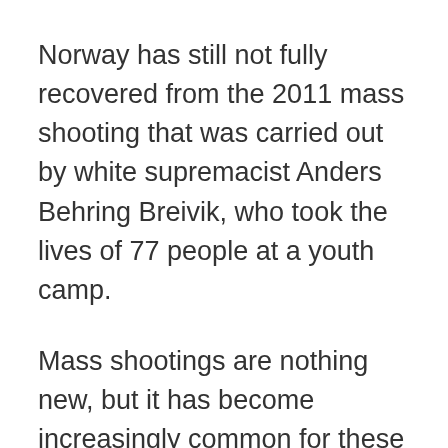Norway has still not fully recovered from the 2011 mass shooting that was carried out by white supremacist Anders Behring Breivik, who took the lives of 77 people at a youth camp.
Mass shootings are nothing new, but it has become increasingly common for these types of attacks to be motivated by some type of racist or anti-immigration sentiment. Many of the most recent shootings to catch headlines have been somehow connected to the cultural